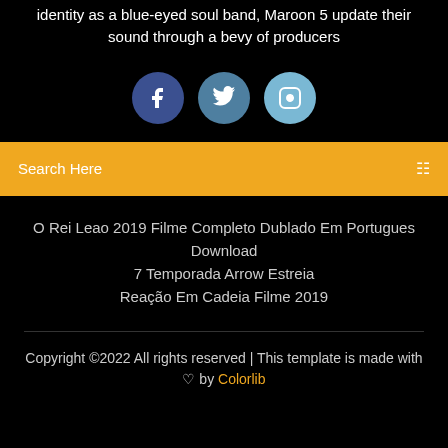identity as a blue-eyed soul band, Maroon 5 update their sound through a bevy of producers
[Figure (other): Three social media icon circles: Facebook (dark blue), Twitter (medium blue), Instagram (light blue)]
Search Here
O Rei Leao 2019 Filme Completo Dublado Em Portugues Download
7 Temporada Arrow Estreia
Reação Em Cadeia Filme 2019
Copyright ©2022 All rights reserved | This template is made with ♡ by Colorlib